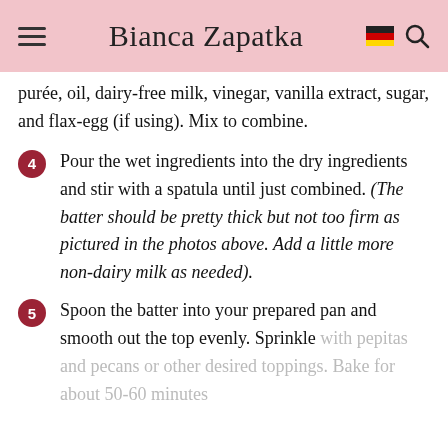Bianca Zapatka
purée, oil, dairy-free milk, vinegar, vanilla extract, sugar, and flax-egg (if using). Mix to combine.
4. Pour the wet ingredients into the dry ingredients and stir with a spatula until just combined. (The batter should be pretty thick but not too firm as pictured in the photos above. Add a little more non-dairy milk as needed).
5. Spoon the batter into your prepared pan and smooth out the top evenly. Sprinkle with pepitas and pecans or other desired toppings. Bake for about 50-60 minutes